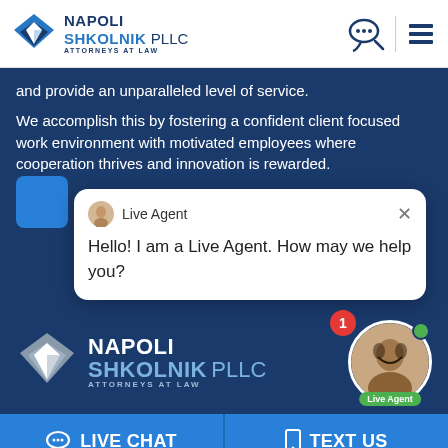[Figure (logo): Napoli Shkolnik PLLC Attorneys at Law logo with diamond shape in blue]
and provide an unparalleled level of service.
We accomplish this by fostering a confident client focused work environment with motivated employees where cooperation thrives and innovation is rewarded.
[Figure (screenshot): Live chat popup window with agent icon, 'Live Agent' label, close button, and message: Hello! I am a Live Agent. How may we help you?]
[Figure (logo): Napoli Shkolnik PLLC footer logo with agent photo, notification badge showing 1, online green dot, and Live Agent badge]
LIVE CHAT
TEXT US